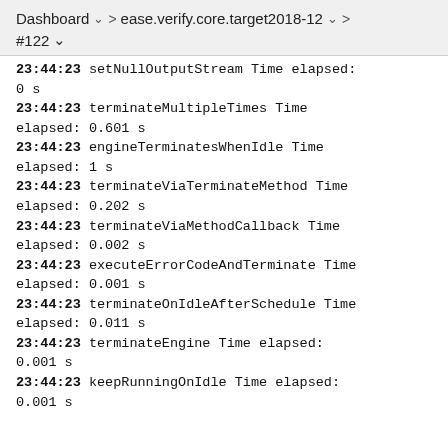Dashboard > ease.verify.core.target2018-12 > #122
23:44:23  setNullOutputStream  Time elapsed: 0 s
23:44:23  terminateMultipleTimes  Time elapsed: 0.601 s
23:44:23  engineTerminatesWhenIdle  Time elapsed: 1 s
23:44:23  terminateViaTerminateMethod  Time elapsed: 0.202 s
23:44:23  terminateViaMethodCallback  Time elapsed: 0.002 s
23:44:23  executeErrorCodeAndTerminate  Time elapsed: 0.001 s
23:44:23  terminateOnIdleAfterSchedule  Time elapsed: 0.011 s
23:44:23  terminateEngine  Time elapsed: 0.001 s
23:44:23  keepRunningOnIdle  Time elapsed: 0.001 s